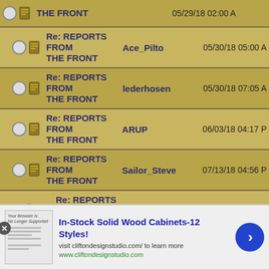Re: REPORTS FROM THE FRONT | (partial top row)
Re: REPORTS FROM THE FRONT | Ace_Pilto | 05/30/18 05:00 AM
Re: REPORTS FROM THE FRONT | lederhosen | 05/30/18 07:05 AM
Re: REPORTS FROM THE FRONT | ARUP | 06/03/18 04:17 PM
Re: REPORTS FROM THE FRONT | Sailor_Steve | 07/13/18 04:56 PM
Re: REPORTS FROM THE FRONT | dutch | 07/13/18 08:18 PM
Re: REPORTS FROM THE FRONT | CaptSopwith | 12/02/18 04:43 PM
Re: REPORTS FROM THE FRONT | lederhosen | 07/13/18 07:46 PM
Re: REPORTS FROM | Nowi | 09/13/18 02:...
In-Stock Solid Wood Cabinets-12 Styles! visit cliftondesignstudio.com/ to learn more www.cliftondesignstudio.com